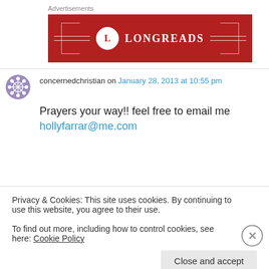Advertisements
[Figure (logo): LONGREADS advertisement banner — red background with white LONGREADS text and circle L logo with decorative brackets]
concernedchristian on January 28, 2013 at 10:55 pm
Prayers your way!! feel free to email me hollyfarrar@me.com
Privacy & Cookies: This site uses cookies. By continuing to use this website, you agree to their use.
To find out more, including how to control cookies, see here: Cookie Policy
Close and accept